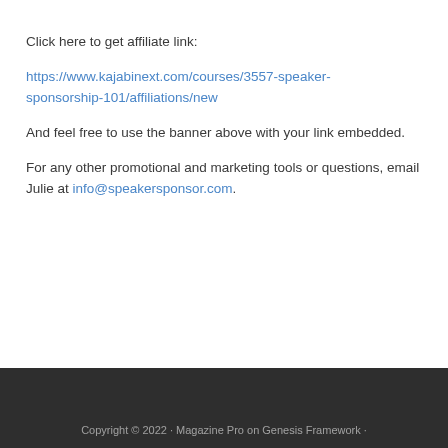Click here to get affiliate link:
https://www.kajabinext.com/courses/3557-speaker-sponsorship-101/affiliations/new
And feel free to use the banner above with your link embedded.
For any other promotional and marketing tools or questions, email Julie at info@speakersponsor.com.
Copyright © 2022 · Magazine Pro on Genesis Framework ·